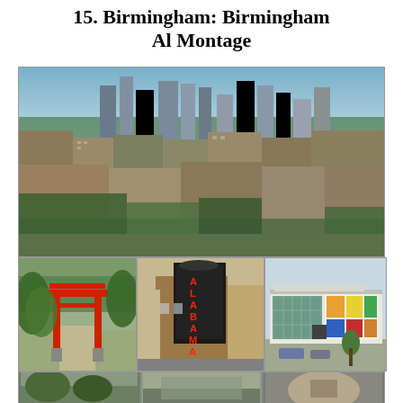15. Birmingham: Birmingham Al Montage
[Figure (photo): Aerial/elevated view of Birmingham, Alabama downtown skyline with dense urban buildings, skyscrapers in background, trees and mid-rise buildings in foreground]
[Figure (photo): Red Japanese torii gate in a park setting with trees]
[Figure (photo): Alabama Theatre sign on a brick building in Birmingham]
[Figure (photo): Modern museum or cultural building exterior with colorful art panels]
[Figure (photo): Partial bottom row of additional Birmingham photos, partially cut off]